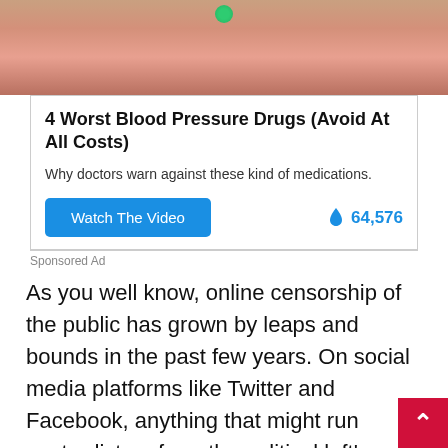[Figure (photo): Close-up photo of a person's tongue/mouth area with a green tongue piercing]
4 Worst Blood Pressure Drugs (Avoid At All Costs)
Why doctors warn against these kind of medications.
Watch The Video   🔥 64,576
Sponsored Ad
As you well know, online censorship of the public has grown by leaps and bounds in the past few years. On social media platforms like Twitter and Facebook, anything that might run contradictory from the political left's narrative of a fair and secure election is deleted, and users are suspended if not